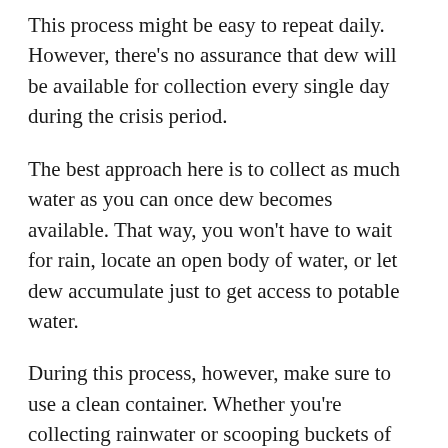This process might be easy to repeat daily. However, there's no assurance that dew will be available for collection every single day during the crisis period.
The best approach here is to collect as much water as you can once dew becomes available. That way, you won't have to wait for rain, locate an open body of water, or let dew accumulate just to get access to potable water.
During this process, however, make sure to use a clean container. Whether you're collecting rainwater or scooping buckets of water from a stream, keeping your drinking water inside an unsanitized, unclean container is never a good idea.
Pro Tip: If you don't have a large container with you, opt to carry around a clean piece of cloth and some